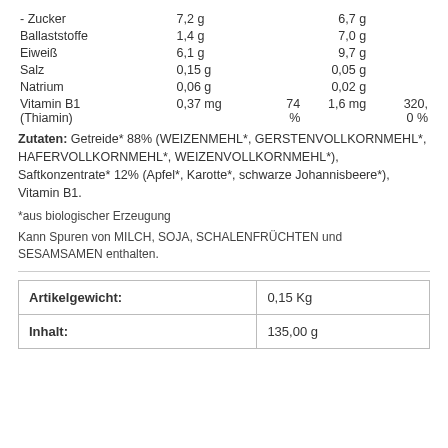|  | Col1 | Col2 | Col3 | Col4 |
| --- | --- | --- | --- | --- |
| - Zucker | 7,2 g |  | 6,7 g |  |
| Ballaststoffe | 1,4 g |  | 7,0 g |  |
| Eiweiß | 6,1 g |  | 9,7 g |  |
| Salz | 0,15 g |  | 0,05 g |  |
| Natrium | 0,06 g |  | 0,02 g |  |
| Vitamin B1 (Thiamin) | 0,37 mg | 74 % | 1,6 mg | 320,0 % |
Zutaten: Getreide* 88% (WEIZENMEHL*, GERSTENVOLLKORNMEHL*, HAFERVOLLKORNMEHL*, WEIZENVOLLKORNMEHL*), Saftkonzentrate* 12% (Apfel*, Karotte*, schwarze Johannisbeere*), Vitamin B1.
*aus biologischer Erzeugung
Kann Spuren von MILCH, SOJA, SCHALENFRÜCHTEN und SESAMSAMEN enthalten.
|  |  |
| --- | --- |
| Artikelgewicht: | 0,15 Kg |
| Inhalt: | 135,00 g |